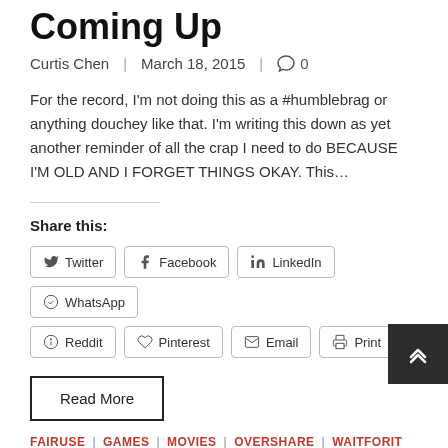Coming Up
Curtis Chen | March 18, 2015 | 0
For the record, I'm not doing this as a #humblebrag or anything douchey like that. I'm writing this down as yet another reminder of all the crap I need to do BECAUSE I'M OLD AND I FORGET THINGS OKAY. This…
Share this:
Twitter | Facebook | LinkedIn | WhatsApp | Reddit | Pinterest | Email | Print
Read More
FAIRUSE | GAMES | MOVIES | OVERSHARE | WAITFORIT
Oscar? I Didn't Even Know 'er!